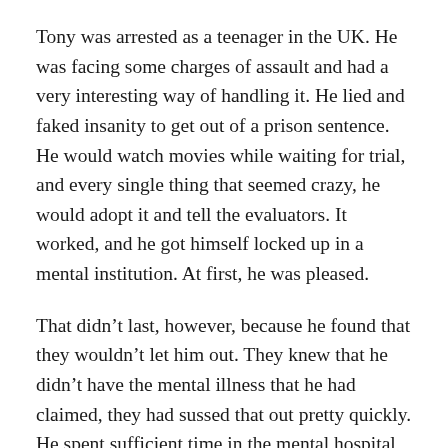Tony was arrested as a teenager in the UK. He was facing some charges of assault and had a very interesting way of handling it. He lied and faked insanity to get out of a prison sentence. He would watch movies while waiting for trial, and every single thing that seemed crazy, he would adopt it and tell the evaluators. It worked, and he got himself locked up in a mental institution. At first, he was pleased.
That didn't last, however, because he found that they wouldn't let him out. They knew that he didn't have the mental illness that he had claimed, they had sussed that out pretty quickly. He spent sufficient time in the mental hospital that counted towards his sentence, but still, he lingered inside. He would have served five years for his crime in the prisons, however at the time of meeting Mr. Ronson he had been confined in